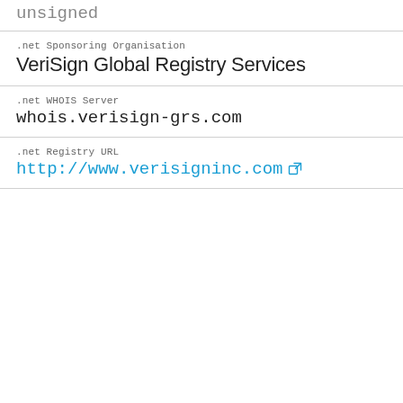unsigned
.net Sponsoring Organisation
VeriSign Global Registry Services
.net WHOIS Server
whois.verisign-grs.com
.net Registry URL
http://www.verisigninc.com